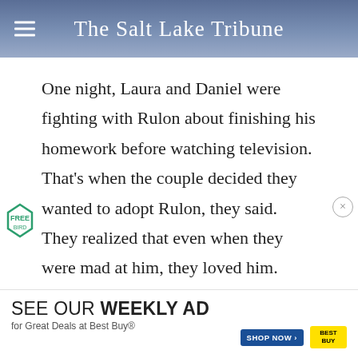The Salt Lake Tribune
One night, Laura and Daniel were fighting with Rulon about finishing his homework before watching television. That's when the couple decided they wanted to adopt Rulon, they said. They realized that even when they were mad at him, they loved him.
Rulon decided he wanted to be a member of the family after seeing how Natalya's adoption we...
[Figure (infographic): Best Buy advertisement banner reading 'SEE OUR WEEKLY AD for Great Deals at Best Buy®' with SHOP NOW button and Best Buy logo]